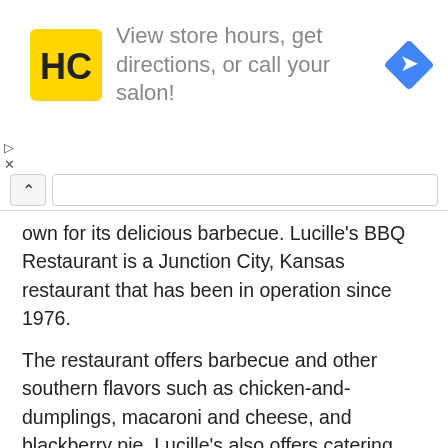[Figure (infographic): Advertisement banner with HC (Hair Club) yellow square logo on left, text 'View store hours, get directions, or call your salon!' in gray in center, and blue diamond-shaped map/directions icon on right]
own for its delicious barbecue. Lucille's BBQ Restaurant is a Junction City, Kansas restaurant that has been in operation since 1976.
The restaurant offers barbecue and other southern flavors such as chicken-and-dumplings, macaroni and cheese, and blackberry pie. Lucille's also offers catering services.
Lucille's BBQ Restaurant is a popular spot in the city for all kinds of food. It has been around since 1978 and offers all types of meat, including pork, chicken, beef, and turkey.